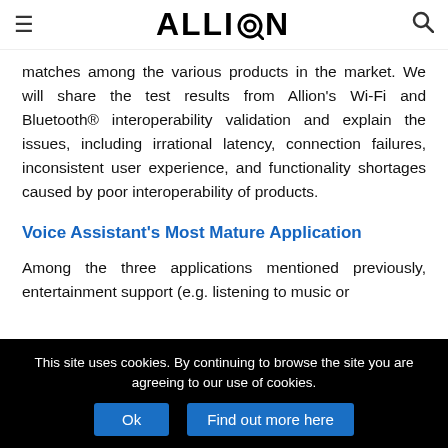ALLION
matches among the various products in the market. We will share the test results from Allion’s Wi-Fi and Bluetooth® interoperability validation and explain the issues, including irrational latency, connection failures, inconsistent user experience, and functionality shortages caused by poor interoperability of products.
Voice Assistant’s Most Mature Application
Among the three applications mentioned previously, entertainment support (e.g. listening to music or ...
This site uses cookies. By continuing to browse the site you are agreeing to our use of cookies.